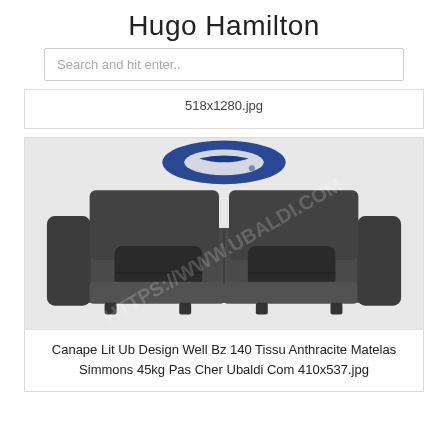Hugo Hamilton
Search and hit enter..
518x1280.jpg
[Figure (photo): A dark anthracite grey sofa/sofa-bed with two dark cushions, shown on a white background with a watermark overlay reading HTTPS://WWW.UBALDI.COM and a blue Simmons logo at top.]
Canape Lit Ub Design Well Bz 140 Tissu Anthracite Matelas Simmons 45kg Pas Cher Ubaldi Com 410x537.jpg